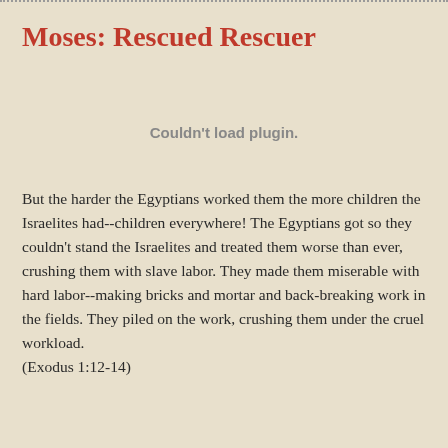Moses: Rescued Rescuer
Couldn't load plugin.
But the harder the Egyptians worked them the more children the Israelites had--children everywhere! The Egyptians got so they couldn't stand the Israelites and treated them worse than ever, crushing them with slave labor. They made them miserable with hard labor--making bricks and mortar and back-breaking work in the fields. They piled on the work, crushing them under the cruel workload. (Exodus 1:12-14)